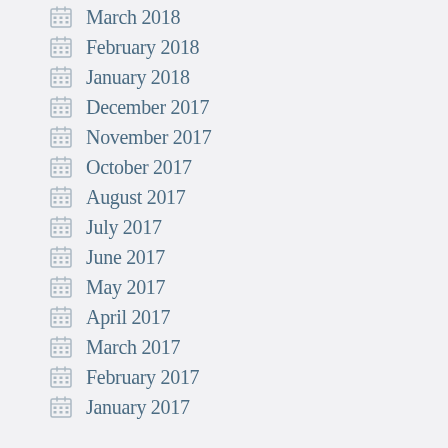March 2018
February 2018
January 2018
December 2017
November 2017
October 2017
August 2017
July 2017
June 2017
May 2017
April 2017
March 2017
February 2017
January 2017